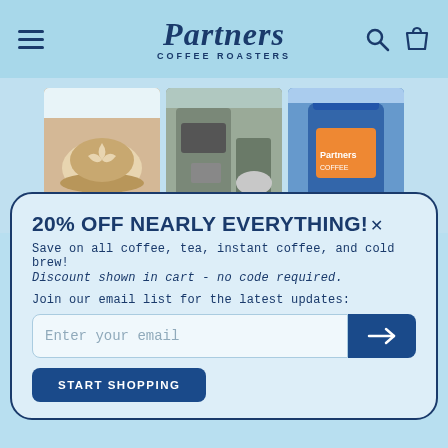Partners Coffee Roasters - navigation header
[Figure (photo): Three photos side by side: latte art in white cup on saucer, espresso machine with cup, Partners Coffee blue bag]
20% OFF NEARLY EVERYTHING!
Save on all coffee, tea, instant coffee, and cold brew!
Discount shown in cart - no code required.
Join our email list for the latest updates:
Enter your email [input field with arrow button]
START SHOPPING